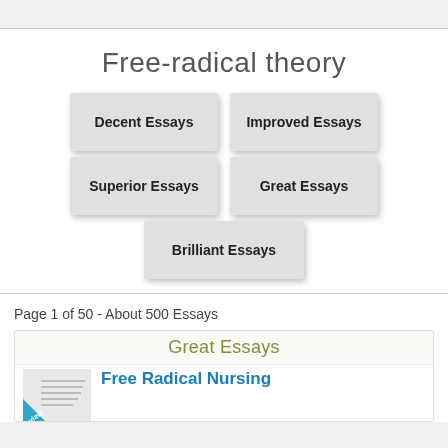Free-radical theory
Decent Essays
Improved Essays
Superior Essays
Great Essays
Brilliant Essays
Page 1 of 50 - About 500 Essays
Great Essays
Free Radical Nursing